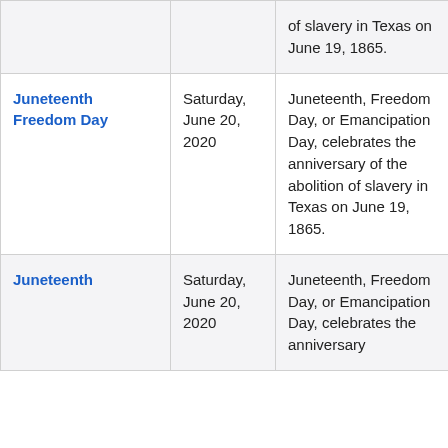| Holiday Name | Date | Description |
| --- | --- | --- |
|  |  | of slavery in Texas on June 19, 1865. |
| Juneteenth Freedom Day | Saturday, June 20, 2020 | Juneteenth, Freedom Day, or Emancipation Day, celebrates the anniversary of the abolition of slavery in Texas on June 19, 1865. |
| Juneteenth | Saturday, June 20, 2020 | Juneteenth, Freedom Day, or Emancipation Day, celebrates the anniversary |